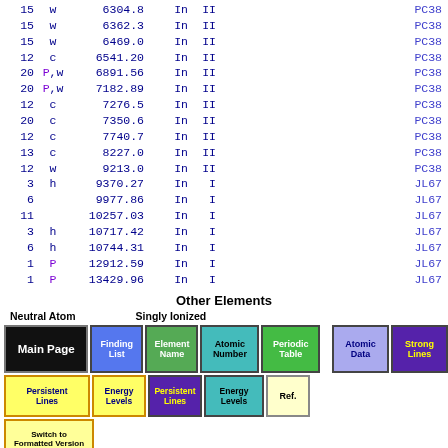|  |  |  |  |  |  |
| --- | --- | --- | --- | --- | --- |
| 15 | w | 6304.8 | In | II | PC38 |
| 15 | w | 6362.3 | In | II | PC38 |
| 15 | w | 6469.0 | In | II | PC38 |
| 12 | c | 6541.20 | In | II | PC38 |
| 20 | P,w | 6891.56 | In | II | PC38 |
| 20 | P,w | 7182.89 | In | II | PC38 |
| 12 | c | 7276.5 | In | II | PC38 |
| 20 | c | 7350.6 | In | II | PC38 |
| 12 | c | 7740.7 | In | II | PC38 |
| 13 | c | 8227.0 | In | II | PC38 |
| 12 | w | 9213.0 | In | II | PC38 |
| 3 | h | 9370.27 | In | I | JL67 |
| 6 |  | 9977.86 | In | I | JL67 |
| 11 |  | 10257.03 | In | I | JL67 |
| 3 | h | 10717.42 | In | I | JL67 |
| 6 | h | 10744.31 | In | I | JL67 |
| 1 | P | 12912.59 | In | I | JL67 |
| 1 | P | 13429.96 | In | I | JL67 |
Other Elements
Neutral Atom   Singly Ionized
[Figure (infographic): Navigation buttons including Main Page, Finding List, Element Name, Atomic Number, Periodic Table, Atomic Data, Strong Lines, Persistent Lines, Energy Levels (neutral and singly ionized), Ref., and Switch to Formatted Version]